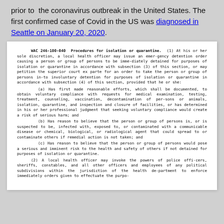prior to the coronavirus outbreak in the United States. The first confirmed case of Covid in the US was diagnosed in Seattle on January 20, 2020.
WAC 246-100-040 Procedures for isolation or quarantine. (1) At his or her sole discretion, a local health officer may issue an emergency detention order causing a person or group of persons to be immediately detained for purposes of isolation or quarantine in accordance with subsection (3) of this section, or may petition the superior court ex parte for an order to take the person or group of persons into involuntary detention for purposes of isolation or quarantine in accordance with subsection (4) of this section, provided that he or she: (a) Has first made reasonable efforts, which shall be documented, to obtain voluntary compliance with requests for medical examination, testing, treatment, counseling, vaccination, decontamination of persons or animals, isolation, quarantine, and inspection and closure of facilities, or has determined in his or her professional judgment that seeking voluntary compliance would create a risk of serious harm; and (b) Has reason to believe that the person or group of persons is, or is suspected to be, infected with, exposed to, or contaminated with a communicable disease or chemical, biological, or radiological agent that could spread to or contaminate others if remedial action is not taken; and (c) Has reason to believe that the person or group of persons would pose a serious and imminent risk to the health and safety of others if not detained for purposes of isolation or quarantine. (2) A local health officer may invoke the powers of police officers, sheriffs, constables, and all other officers and employees of any political subdivisions within the jurisdiction of the health department to enforce immediately orders given to effectuate the purpo-